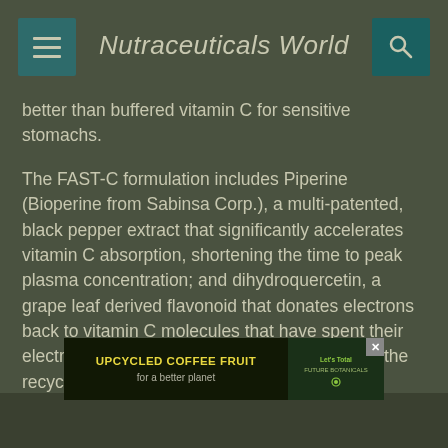Nutraceuticals World
better than buffered vitamin C for sensitive stomachs.
The FAST-C formulation includes Piperine (Bioperine from Sabinsa Corp.), a multi-patented, black pepper extract that significantly accelerates vitamin C absorption, shortening the time to peak plasma concentration; and dihydroquercetin, a grape leaf derived flavonoid that donates electrons back to vitamin C molecules that have spent their electrons neutralizing free radicals to enhance the recycling power of vitamin C.
According to Ms. Reece, vitamin C efficacy can be limited because it is quickly utilized and excreted by the body.
“The benefits of vitamin C are well-recognized and we are
[Figure (other): Advertisement banner for UPCYCLED COFFEE FRUIT for a better planet, with a logo on the right side]